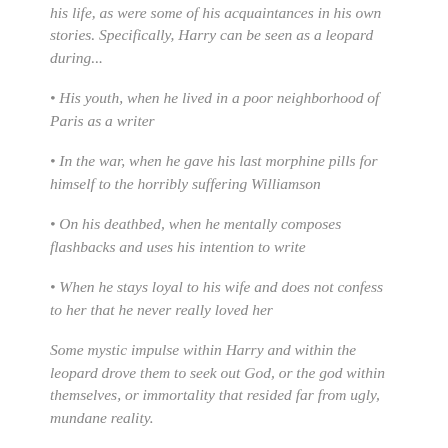his life, as were some of his acquaintances in his own stories. Specifically, Harry can be seen as a leopard during...
His youth, when he lived in a poor neighborhood of Paris as a writer
In the war, when he gave his last morphine pills for himself to the horribly suffering Williamson
On his deathbed, when he mentally composes flashbacks and uses his intention to write
When he stays loyal to his wife and does not confess to her that he never really loved her
Some mystic impulse within Harry and within the leopard drove them to seek out God, or the god within themselves, or immortality that resided far from ugly, mundane reality.
In most civilizations, God or God's promise of immortality resided on the highest mountaintop...